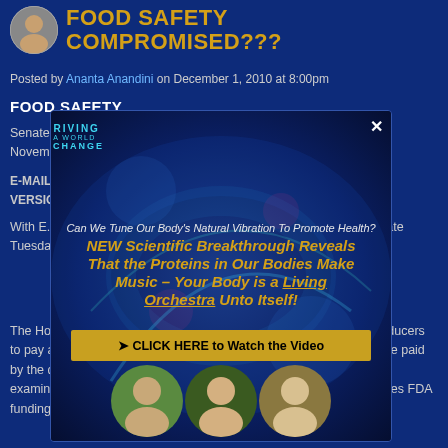FOOD SAFETY COMPROMISED???
Posted by Ananta Anandini on December 1, 2010 at 8:00pm
FOOD SAFETY
Senate passes food safety bill - Wall Street Journal November 30, 2010
E-MAIL THIS ARTICLE PRINTER-FRIENDLY VERSION COMMENT ON THIS STORY
With E. coli and salmonella outbreaks still a recent memory, the Senate Tuesday morning passed its version of the food safety bill, 73-25.
[Figure (screenshot): Popup overlay advertisement for 'Thriving in a World of Change' featuring DNA imagery and headline 'Can We Tune Our Body's Natural Vibration To Promote Health? NEW Scientific Breakthrough Reveals That the Proteins in Our Bodies Make Music – Your Body is a Living Orchestra Unto Itself!' with a yellow CTA button 'CLICK HERE to Watch the Video' and faces of people at the bottom.]
The House version of the bill, passed in July 2009, requires food producers to pay a user fee to the Food and Drug Administration, similar to those paid by the drug and device industries. The fee would fund beefed-up examinations of the nation's food supply. But the Senate version leaves FDA funding for